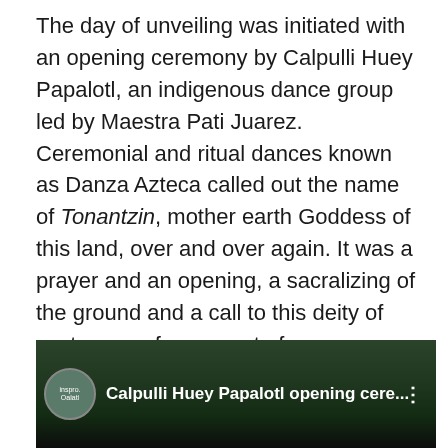The day of unveiling was initiated with an opening ceremony by Calpulli Huey Papalotl, an indigenous dance group led by Maestra Pati Juarez. Ceremonial and ritual dances known as Danza Azteca called out the name of Tonantzin, mother earth Goddess of this land, over and over again. It was a prayer and an opening, a sacralizing of the ground and a call to this deity of sustenance for support of women warriors. After burning sage inside the garden and on the street, and honoring the four directions, Calpulli Huey Papalotl danced to honor our ancestors, and for Tonantzin, as well as a dance to plant the corn — jumping and leaning in low, to nourish the new seeds of what will grow.
[Figure (screenshot): Video thumbnail showing 'Calpulli Huey Papalotl opening cere...' with avatar icon on left and three-dot menu on right, dark background with outdoor scene]